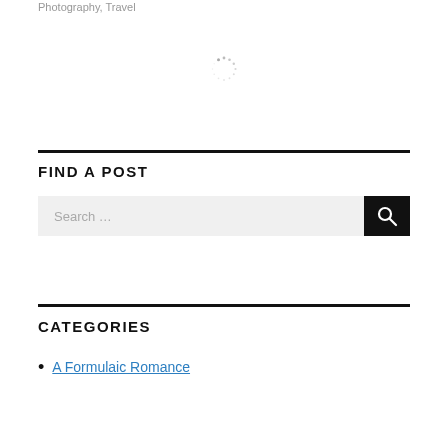Photography, Travel
[Figure (other): Loading spinner icon (circular dotted spinner)]
FIND A POST
[Figure (other): Search bar with text 'Search ...' and a black search button with magnifying glass icon]
CATEGORIES
A Formulaic Romance